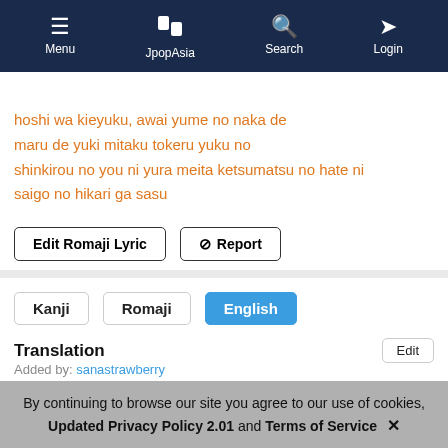Menu | JpopAsia | Search | Login
hoshi wa kieyuku, awai yume no naka de
maru de yuki mitaku tokeru yuku no
shinkirou no you ni yura meita ketsumatsu no hate ni
saigo no hikari ga sasu
Edit Romaji Lyric | Report
Kanji | Romaji | English
Translation
Added by: sanastrawberry
Midnight's garden
The night's all encompassing sound resounds
Wearing a snow white dress
By continuing to browse our site you agree to our use of cookies, Updated Privacy Policy 2.01 and Terms of Service ✕